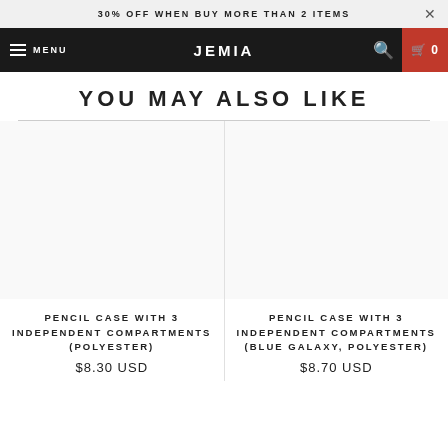30% OFF WHEN BUY MORE THAN 2 ITEMS
MENU  JEMIA  0
YOU MAY ALSO LIKE
PENCIL CASE WITH 3 INDEPENDENT COMPARTMENTS (POLYESTER)
$8.30 USD
PENCIL CASE WITH 3 INDEPENDENT COMPARTMENTS (BLUE GALAXY, POLYESTER)
$8.70 USD